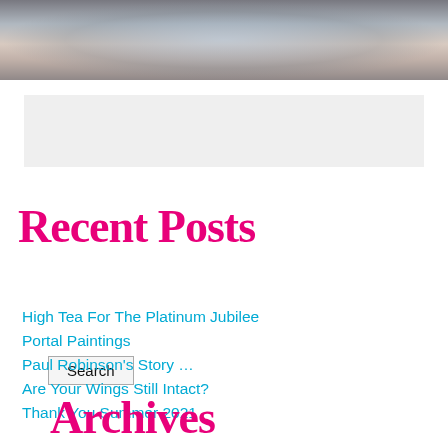[Figure (photo): Cropped photograph showing hands and torso of a person, muted grey and skin-tone background]
Search
Recent Posts
High Tea For The Platinum Jubilee
Portal Paintings
Paul Robinson's Story …
Are Your Wings Still Intact?
Thank You Summer 2021
Archives